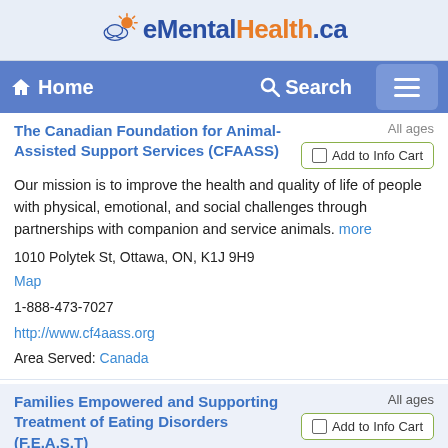[Figure (logo): eMentalHealth.ca logo with sun and cloud icon, blue and orange text]
Home   Search   Menu
The Canadian Foundation for Animal-Assisted Support Services (CFAASS)
Our mission is to improve the health and quality of life of people with physical, emotional, and social challenges through partnerships with companion and service animals. more
1010 Polytek St, Ottawa, ON, K1J 9H9
Map
1-888-473-7027
http://www.cf4aass.org
Area Served: Canada
Families Empowered and Supporting Treatment of Eating Disorders (F.E.A.S.T)